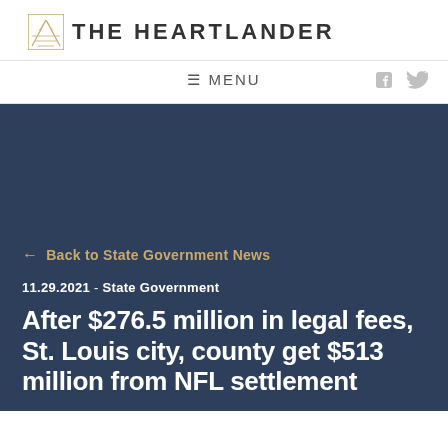THE HEARTLANDER
≡ MENU
← Back to State Government News
11.29.2021 - State Government
After $276.5 million in legal fees, St. Louis city, county get $513 million from NFL settlement